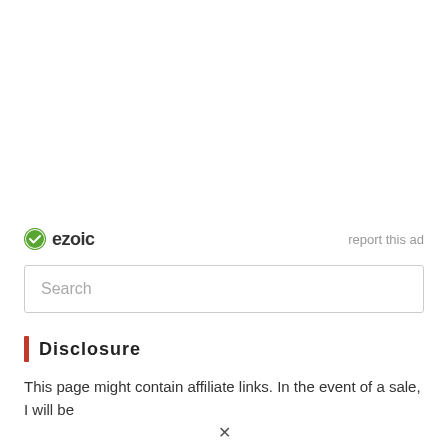[Figure (logo): Ezoic logo with green circle checkmark icon and 'ezoic' text in dark bold font, alongside 'report this ad' in light gray text on the right]
Search
Disclosure
This page might contain affiliate links. In the event of a sale, I will be